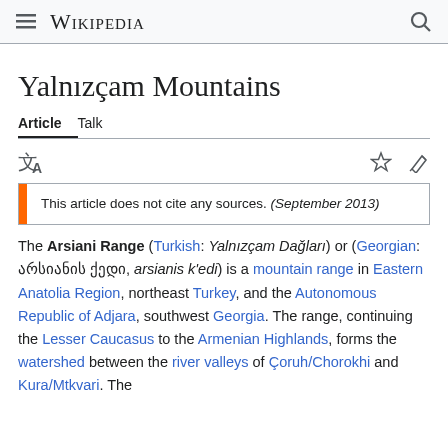Wikipedia
Yalnızçam Mountains
Article   Talk
This article does not cite any sources. (September 2013)
The Arsiani Range (Turkish: Yalnızçam Dağları) or (Georgian: არსიანის ქედი, arsianis k'edi) is a mountain range in Eastern Anatolia Region, northeast Turkey, and the Autonomous Republic of Adjara, southwest Georgia. The range, continuing the Lesser Caucasus to the Armenian Highlands, forms the watershed between the river valleys of Çoruh/Chorokhi and Kura/Mtkvari. The